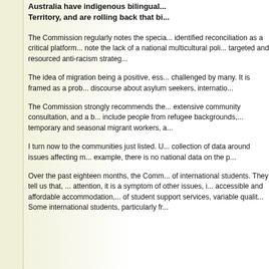Australia have indigenous bilingual ... Territory, and are rolling back that bi...
The Commission regularly notes the specia... identified reconciliation as a critical platform... note the lack of a national multicultural poli... targeted and resourced anti-racism strateg...
The idea of migration being a positive, ess... challenged by many. It is framed as a prob... discourse about asylum seekers, internatio...
The Commission strongly recommends the... extensive community consultation, and a b... include people from refugee backgrounds,... temporary and seasonal migrant workers, a...
I turn now to the communities just listed. U... collection of data around issues affecting m... example, there is no national data on the p...
Over the past eighteen months, the Comm... of international students. They tell us that, ... attention, it is a symptom of other issues, i... accessible and affordable accommodation,... of student support services, variable qualit... Some international students, particularly fr...